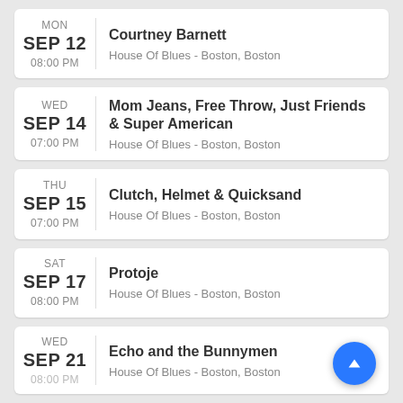MON SEP 12 08:00 PM | Courtney Barnett | House Of Blues - Boston, Boston
WED SEP 14 07:00 PM | Mom Jeans, Free Throw, Just Friends & Super American | House Of Blues - Boston, Boston
THU SEP 15 07:00 PM | Clutch, Helmet & Quicksand | House Of Blues - Boston, Boston
SAT SEP 17 08:00 PM | Protoje | House Of Blues - Boston, Boston
WED SEP 21 | Echo and the Bunnymen | House Of Blues - Boston, Boston